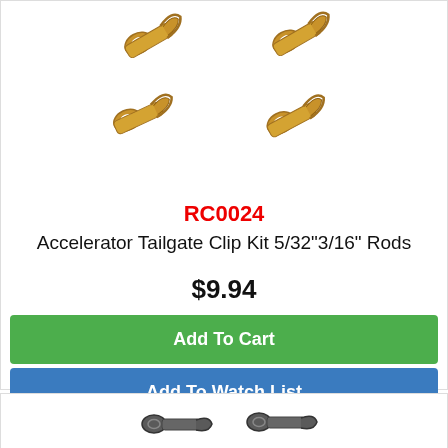[Figure (photo): Four golden/bronze colored accelerator tailgate clip hardware pieces arranged in a 2x2 grid on white background]
RC0024
Accelerator Tailgate Clip Kit 5/32"3/16" Rods
$9.94
Add To Cart
Add To Watch List
[Figure (photo): Partial view of darker colored rod clip hardware pieces at bottom of page]